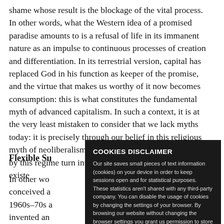shame whose result is the blockage of the vital process. In other words, what the Western idea of a promised paradise amounts to is a refusal of life in its immanent nature as an impulse to continuous processes of creation and differentiation. In its terrestrial version, capital has replaced God in his function as keeper of the promise, and the virtue that makes us worthy of it now becomes consumption: this is what constitutes the fundamental myth of advanced capitalism. In such a context, it is at the very least mistaken to consider that we lack myths today: it is precisely through our belief in this religious myth of neoliberalism, that the image-worlds produced by this regime turn into concrete reality in our own existe...
Flexible Su...
In other w... conceived a... 1960s–70s a... invented an... creative po...
COOKIES DISCLAIMER
Our site saves small pieces of text information (cookies) on your device in order to keep sessions open and for statistical purposes. These statistics aren't shared with any third-party company. You can disable the usage of cookies by changing the settings of your browser. By browsing our website without changing the browser settings you grant us permission to store that information on your device.
I AGREE